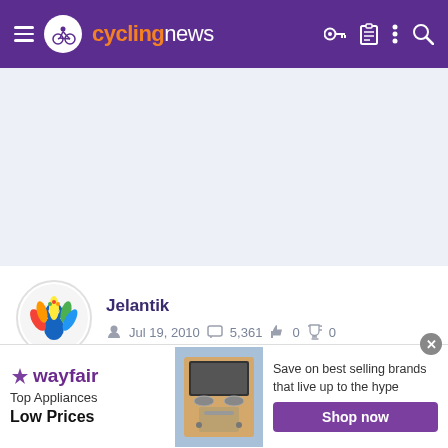cyclingnews
[Figure (screenshot): Advertisement space / banner placeholder with light blue-grey background]
Jelantik
Jul 19, 2010   5,361   0   0
Jun 11, 2015   #27,499
Re: Re:
[Figure (infographic): Wayfair advertisement banner: Top Appliances Low Prices, Save on best selling brands that live up to the hype, Shop now button]